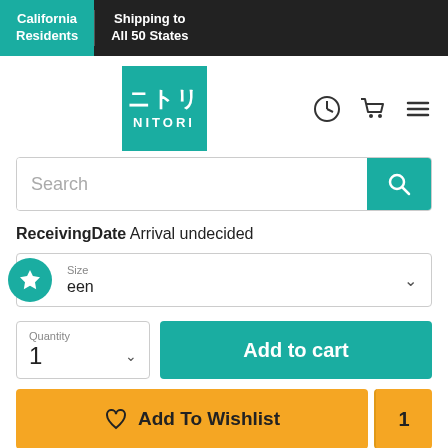California Residents | Shipping to All 50 States
[Figure (logo): Nitori logo with Japanese characters and NITORI text on teal background, with clock, cart, and menu icons]
Search
ReceivingDate Arrival undecided
Size
Queen
Quantity 1
Add to cart
Add To Wishlist 1
Get Notified When Back In Stock